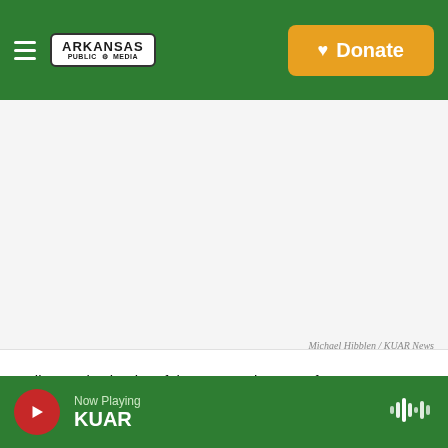Arkansas Public Media — Donate
[Figure (photo): Photograph of Melissa Fults signing paperwork, white background area representing the image placeholder]
Michael Hibblen / KUAR News
Melissa Fults, leader of the group Arkansans for Compassionate Care, signing paperwork in June while delivering signatures for the proposal to the Secretary of State's office.
Now Playing KUAR